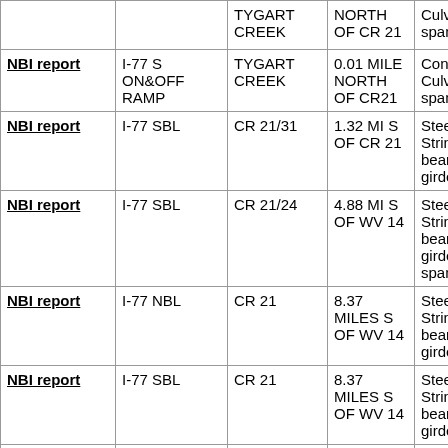|  | Route | Feature Intersected | Location | Structure Type |
| --- | --- | --- | --- | --- |
|  |  | TYGART CREEK | NORTH OF CR 21 | Culvert (2 spans) |
| NBI report | I-77 S ON&OFF RAMP | TYGART CREEK | 0.01 MILE NORTH OF CR21 | Concrete Culvert (3 spans) |
| NBI report | I-77 SBL | CR 21/31 | 1.32 MI S OF CR 21 | Steel Stringer/M beam or girder |
| NBI report | I-77 SBL | CR 21/24 | 4.88 MI S OF WV 14 | Steel Stringer/M beam or girder (3 spans) |
| NBI report | I-77 NBL | CR 21 | 8.37 MILES S OF WV 14 | Steel Stringer/M beam or girder |
| NBI report | I-77 SBL | CR 21 | 8.37 MILES S OF WV 14 | Steel Stringer/M beam or girder |
| NBI report | I-77 NBL | I 77 NORTH | 1.04 MILE NORTH OF CR 21 | Steel Stringer/M beam or girder |
| NBI report | I-77 SBL | I 77 SOUTH | 1.04 MILES | Steel Stringer/M |